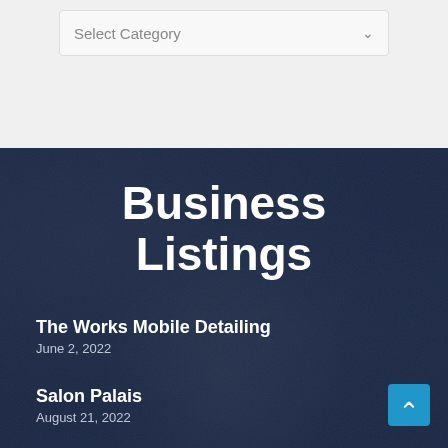Select Category
Business Listings
The Works Mobile Detailing
June 2, 2022
Salon Palais
August 21, 2022